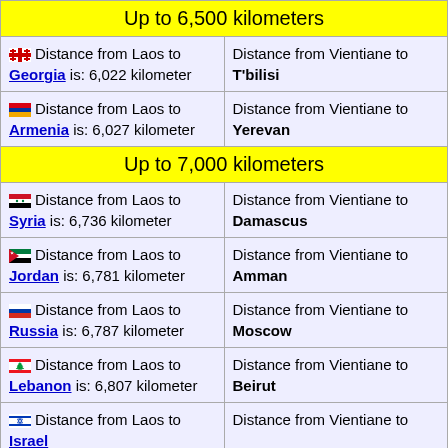Up to 6,500 kilometers
| Left | Right |
| --- | --- |
| 🇬🇪 Distance from Laos to Georgia is: 6,022 kilometer | Distance from Vientiane to T'bilisi |
| 🇦🇲 Distance from Laos to Armenia is: 6,027 kilometer | Distance from Vientiane to Yerevan |
Up to 7,000 kilometers
| Left | Right |
| --- | --- |
| 🇸🇾 Distance from Laos to Syria is: 6,736 kilometer | Distance from Vientiane to Damascus |
| 🇯🇴 Distance from Laos to Jordan is: 6,781 kilometer | Distance from Vientiane to Amman |
| 🇷🇺 Distance from Laos to Russia is: 6,787 kilometer | Distance from Vientiane to Moscow |
| 🇱🇧 Distance from Laos to Lebanon is: 6,807 kilometer | Distance from Vientiane to Beirut |
| 🇮🇱 Distance from Laos to Israel | Distance from Vientiane to |